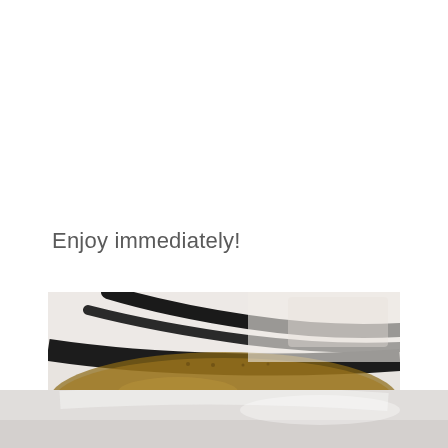Enjoy immediately!
[Figure (photo): Close-up photo of a dark black rim of a cup or bowl with amber/brown liquid inside, against a light blurred background. The top portion shows a curved black rim and dark cord-like element.]
[Figure (photo): Bottom portion of a cup or bowl, light/white ceramic with soft focus, continuing the beverage image from above.]